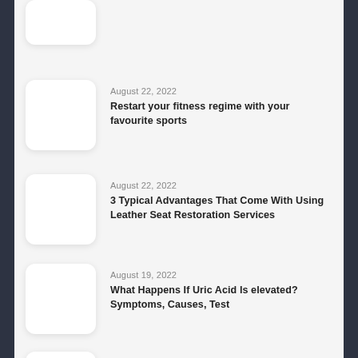[Figure (photo): Thumbnail image placeholder (white rounded rectangle) for first article (partially visible at top)]
August 22, 2022
Restart your fitness regime with your favourite sports
[Figure (photo): Thumbnail image placeholder (white rounded rectangle) for second article]
August 22, 2022
3 Typical Advantages That Come With Using Leather Seat Restoration Services
[Figure (photo): Thumbnail image placeholder (white rounded rectangle) for third article]
August 19, 2022
What Happens If Uric Acid Is elevated? Symptoms, Causes, Test
[Figure (photo): Thumbnail image placeholder (white rounded rectangle) for fourth article]
August 14, 2022
Fun and Challenging: Rubik's Cube Toys